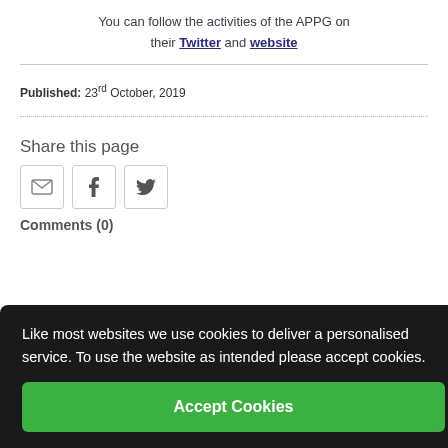You can follow the activities of the APPG on their Twitter and website
Published: 23rd October, 2019
Share this page
[Figure (other): Share icons: email, Facebook, Twitter]
Like most websites we use cookies to deliver a personalised service. To use the website as intended please accept cookies.
Comments (0)
Accept Cookies